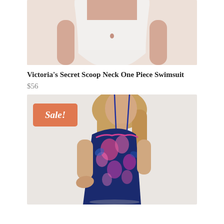[Figure (photo): Partial torso view of model wearing a white scoop neck one-piece swimsuit against a light beige/cream background. Only the midsection and hips are visible.]
Victoria's Secret Scoop Neck One Piece Swimsuit
$56
[Figure (photo): Model wearing a navy blue and pink floral print one-piece swimsuit with spaghetti straps and a V-neckline with ruffle detail. Model has long blonde hair. An orange 'Sale!' badge is overlaid in the top-left corner of the image.]